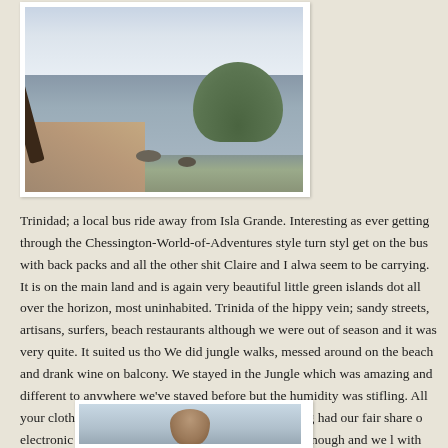[Figure (photo): Coastal scene showing a rocky shoreline with calm water, scattered rocks, a green hill/island in the background, and a hazy sky. A tree or driftwood is visible on the left foreground.]
Trinidad; a local bus ride away from Isla Grande. Interesting as ever getting through the Chessington-World-of-Adventures style turn styl get on the bus with back packs and all the other shit Claire and I alwa seem to be carrying. It is on the main land and is again very beautiful little green islands dot all over the horizon, most uninhabited. Trinida of the hippy vein; sandy streets, artisans, surfers, beach restaurants although we were out of season and it was very quite. It suited us tho We did jungle walks, messed around on the beach and drank wine on balcony. We stayed in the Jungle which was amazing and different to anywhere we've stayed before but the humidity was stifling. All your clothes were constantly damp and already having had our fair share o electronic disasters, we loved it but three nights was enough and we l with our fingers crossed that nothing was damaged. I wrote the above
[Figure (photo): Partial view of a second photograph showing water and what appears to be a person or figure, partially cropped at the bottom of the page.]